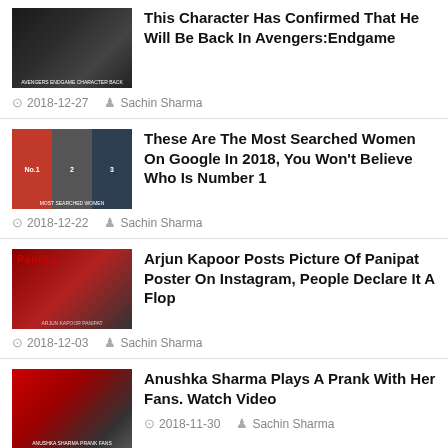[Figure (photo): Thumbnail image for Avengers Endgame character article, dark toned action scene]
This Character Has Confirmed That He Will Be Back In Avengers:Endgame
2018-12-27   Sachin Sharma
[Figure (photo): Thumbnail showing most searched women on Google in 2018, multiple women collage]
These Are The Most Searched Women On Google In 2018, You Won't Believe Who Is Number 1
2018-12-22   Sachin Sharma
[Figure (photo): Thumbnail for Panipat poster article, red background with Arjun Kapoor]
Arjun Kapoor Posts Picture Of Panipat Poster On Instagram, People Declare It A Flop
2018-12-03   Sachin Sharma
[Figure (photo): Thumbnail for Anushka Sharma prank video article, crowd scene with red background]
Anushka Sharma Plays A Prank With Her Fans. Watch Video
2018-11-30   Sachin Sharma